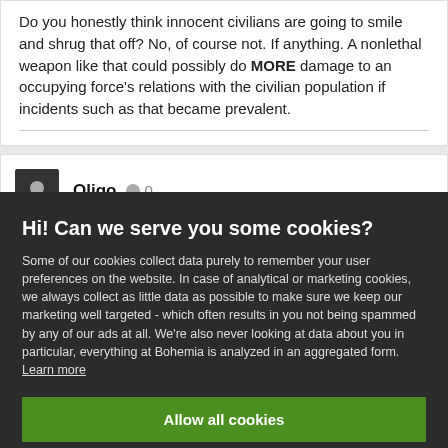Do you honestly think innocent civilians are going to smile and shrug that off? No, of course not. If anything. A nonlethal weapon like that could possibly do MORE damage to an occupying force's relations with the civilian population if incidents such as that became prevalent.
Oligo  0
Hi! Can we serve you some cookies?
Some of our cookies collect data purely to remember your user preferences on the website. In case of analytical or marketing cookies, we always collect as little data as possible to make sure we keep our marketing well targeted - which often results in you not being spammed by any of our ads at all. We're also never looking at data about you in particular, everything at Bohemia is analyzed in an aggregated form. Learn more
Allow all cookies
I want more options